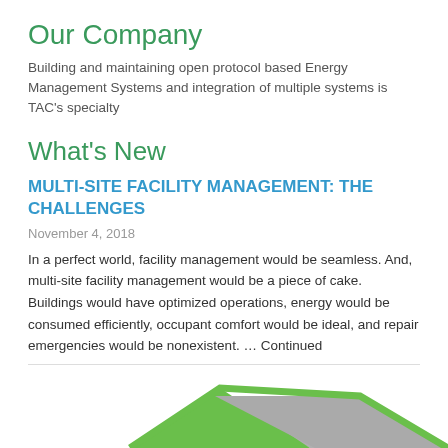Our Company
Building and maintaining open protocol based Energy Management Systems and integration of multiple systems is TAC’s specialty
What’s New
MULTI-SITE FACILITY MANAGEMENT: THE CHALLENGES
November 4, 2018
In a perfect world, facility management would be seamless. And, multi-site facility management would be a piece of cake. Buildings would have optimized operations, energy would be consumed efficiently, occupant comfort would be ideal, and repair emergencies would be nonexistent. … Continued
[Figure (illustration): Partial view of green and grey house rooftop graphic at bottom of page]